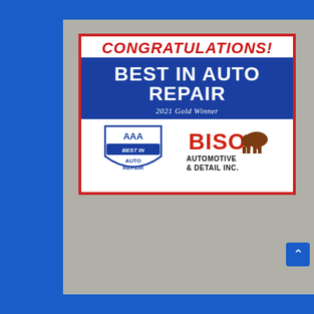[Figure (photo): A photograph showing a congratulations award sign for Bison Automotive & Detail Inc. mounted on a gray wall, with blue borders. The sign reads 'CONGRATULATIONS! BEST IN AUTO REPAIR 2021 Gold Winner' with the AAA Best in Auto Repair badge and the Bison Automotive & Detail Inc. logo. The surrounding area is blue.]